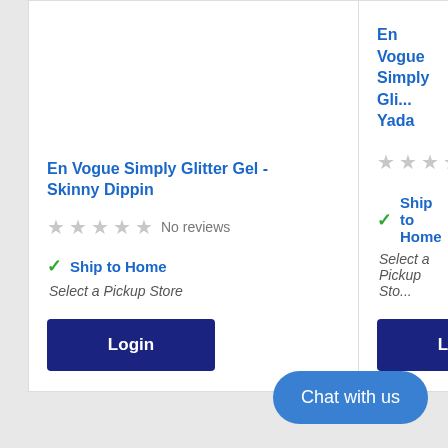En Vogue Simply Glitter Gel - Skinny Dippin
No reviews
Ship to Home
Select a Pickup Store
Login
En Vogue Simply Gli... Yada
No reviews
Ship to Home
Select a Pickup Sto...
Login
Chat with us